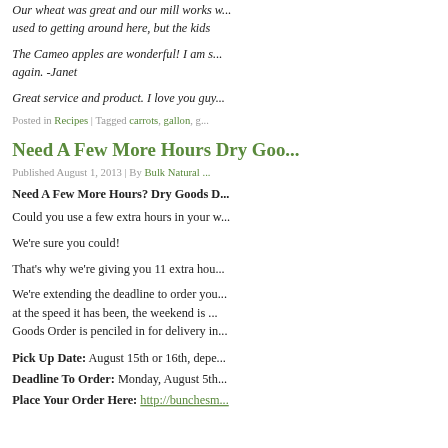Our wheat was great and our mill works w... used to getting around here, but the kids
The Cameo apples are wonderful! I am s... again. -Janet
Great service and product. I love you guy...
Posted in Recipes | Tagged carrots, gallon, g...
Need A Few More Hours Dry Goo...
Published August 1, 2013 | By Bulk Natural ...
Need A Few More Hours? Dry Goods D...
Could you use a few extra hours in your w...
We're sure you could!
That's why we're giving you 11 extra hou...
We're extending the deadline to order yo... at the speed it has been, the weekend is ... Goods Order is penciled in for delivery in...
Pick Up Date: August 15th or 16th, depe...
Deadline To Order: Monday, August 5th...
Place Your Order Here: http://bunchesm...